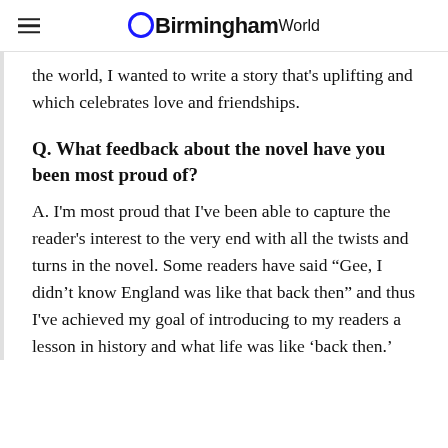BirminghamWorld
the world, I wanted to write a story that's uplifting and which celebrates love and friendships.
Q. What feedback about the novel have you been most proud of?
A. I'm most proud that I've been able to capture the reader's interest to the very end with all the twists and turns in the novel. Some readers have said “Gee, I didn’t know England was like that back then” and thus I've achieved my goal of introducing to my readers a lesson in history and what life was like ‘back then.'